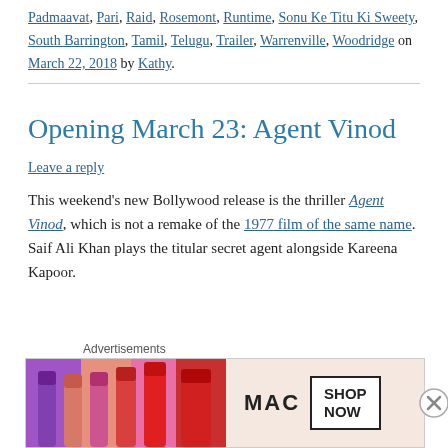Padmaavat, Pari, Raid, Rosemont, Runtime, Sonu Ke Titu Ki Sweety, South Barrington, Tamil, Telugu, Trailer, Warrenville, Woodridge on March 22, 2018 by Kathy.
Opening March 23: Agent Vinod
Leave a reply
This weekend's new Bollywood release is the thriller Agent Vinod, which is not a remake of the 1977 film of the same name. Saif Ali Khan plays the titular secret agent alongside Kareena Kapoor.
[Figure (photo): MAC lipstick advertisement banner showing colorful lipsticks with MAC logo and SHOP NOW button]